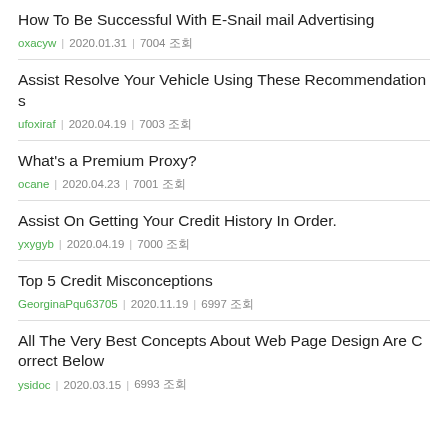How To Be Successful With E-Snail mail Advertising
oxacyw | 2020.01.31 | 7004 조회
Assist Resolve Your Vehicle Using These Recommendations
ufoxiraf | 2020.04.19 | 7003 조회
What's a Premium Proxy?
ocane | 2020.04.23 | 7001 조회
Assist On Getting Your Credit History In Order.
yxygyb | 2020.04.19 | 7000 조회
Top 5 Credit Misconceptions
GeorginaPqu63705 | 2020.11.19 | 6997 조회
All The Very Best Concepts About Web Page Design Are Correct Below
ysidoc | 2020.03.15 | 6993 조회